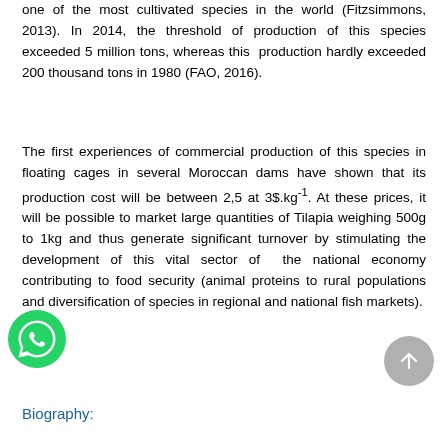one of the most cultivated species in the world (Fitzsimmons, 2013). In 2014, the threshold of production of this species exceeded 5 million tons, whereas this production hardly exceeded 200 thousand tons in 1980 (FAO, 2016).
The first experiences of commercial production of this species in floating cages in several Moroccan dams have shown that its production cost will be between 2,5 at 3$.kg⁻¹. At these prices, it will be possible to market large quantities of Tilapia weighing 500g to 1kg and thus generate significant turnover by stimulating the development of this vital sector of the national economy contributing to food security (animal proteins to rural populations and diversification of species in regional and national fish markets).
Biography: